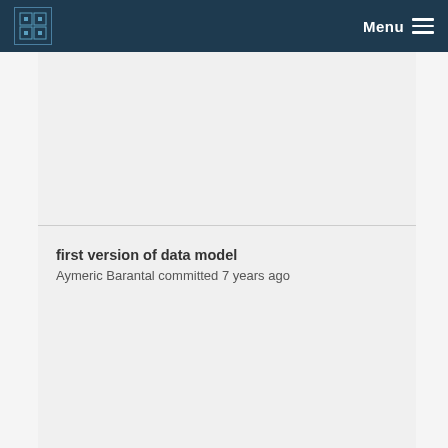Menu
first version of data model
Aymeric Barantal committed 7 years ago